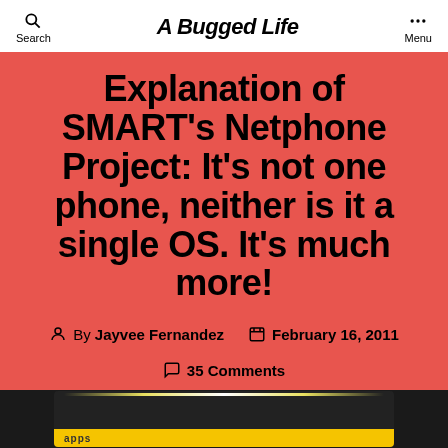Search  A Bugged Life  Menu
Explanation of SMART's Netphone Project: It's not one phone, neither is it a single OS. It's much more!
By Jayvee Fernandez  February 16, 2011  35 Comments
[Figure (photo): Bottom portion of a dark-screened device showing a yellow apps bar with the word 'apps' visible]